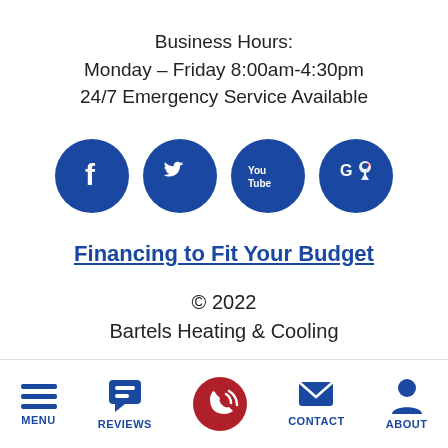Business Hours:
Monday – Friday 8:00am-4:30pm
24/7 Emergency Service Available
[Figure (infographic): Four blue circular social media icons: Facebook (f), Twitter (bird), YouTube (You Tube), and Google Maps (G with location pin)]
Financing to Fit Your Budget
© 2022
Bartels Heating & Cooling
MENU | REVIEWS | (call button) | CONTACT | ABOUT